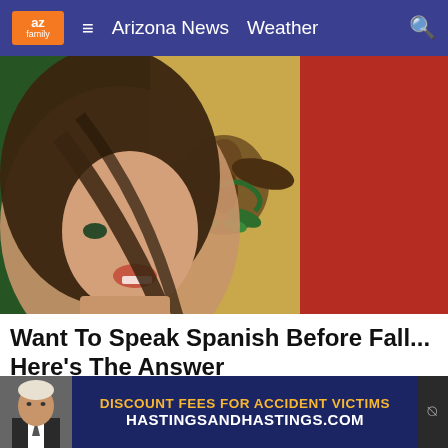az family | Arizona News  Weather
[Figure (photo): Woman with long dark hair smiling, superimposed over Mexican flag with green, white, and red vertical stripes and eagle emblem in center]
Want To Speak Spanish Before Fall... Here's The Answer
Babbel | Sponsored
[Figure (photo): Partial view of a second article image, partially obscured by an ad banner]
[Figure (infographic): Advertisement banner: Photo of lawyer on left. Blue background with orange text 'DISCOUNT FEES FOR ACCIDENT VICTIMS' and white text 'HASTINGSandHASTINGS.COM'. Close button on right.]